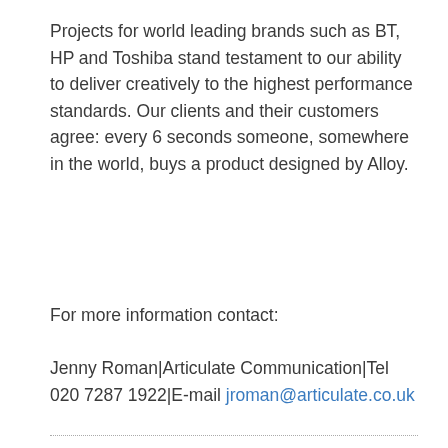Projects for world leading brands such as BT, HP and Toshiba stand testament to our ability to deliver creatively to the highest performance standards. Our clients and their customers agree: every 6 seconds someone, somewhere in the world, buys a product designed by Alloy.
For more information contact:
Jenny Roman|Articulate Communication|Tel 020 7287 1922|E-mail jroman@articulate.co.uk